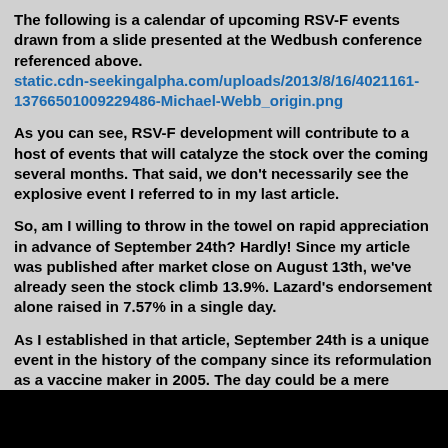The following is a calendar of upcoming RSV-F events drawn from a slide presented at the Wedbush conference referenced above. static.cdn-seekingalpha.com/uploads/2013/8/16/4021161-13766501009229486-Michael-Webb_origin.png
As you can see, RSV-F development will contribute to a host of events that will catalyze the stock over the coming several months. That said, we don't necessarily see the explosive event I referred to in my last article.
So, am I willing to throw in the towel on rapid appreciation in advance of September 24th? Hardly! Since my article was published after market close on August 13th, we've already seen the stock climb 13.9%. Lazard's endorsement alone raised in 7.57% in a single day.
As I established in that article, September 24th is a unique event in the history of the company since its reformulation as a vaccine maker in 2005. The day could be a mere formality but the stage suggests it isn't. The inaugural incidence of an annual occurrence rarely is - think weddings and the like. It was William Tanner himself of Lazard Capital Markets that didn't want to "jump the gun" on just what was to be revealed on this special day.
As a result, I'm led to believe there's a surprise coming on September 24th and it will contribute to the value of this company and growth of